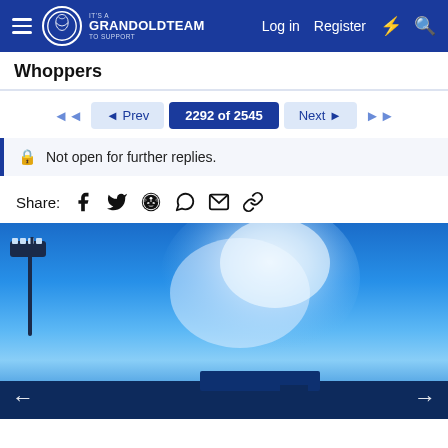Grand Old Team — Log in | Register
Whoppers
◄◄  ◄ Prev  2292 of 2545  Next ►  ►►
🔒 Not open for further replies.
Share: Facebook Twitter Reddit WhatsApp Email Link
[Figure (photo): Blue sky with dramatic white cloud plume above a stadium, a floodlight visible top-left, dark stadium silhouette at bottom. Navigation arrows at bottom corners.]